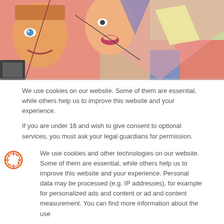[Figure (illustration): Colorful abstract/pop-art illustration showing stylized human faces and figures with bright colors including pink, orange, green, red, and blue.]
We use cookies on our website. Some of them are essential, while others help us to improve this website and your experience.
If you are under 16 and wish to give consent to optional services, you must ask your legal guardians for permission.
We use cookies and other technologies on our website. Some of them are essential, while others help us to improve this website and your experience. Personal data may be processed (e.g. IP addresses), for example for personalized ads and content or ad and content measurement. You can find more information about the use
I accept
Individual Privacy Preferences